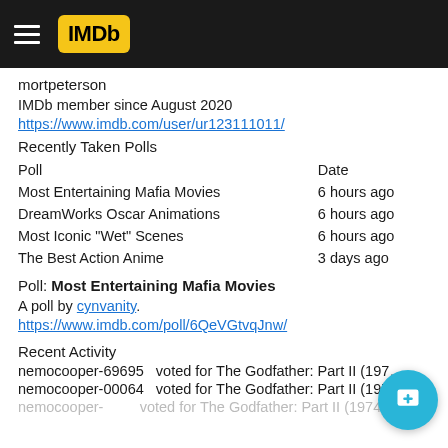IMDb
mortpeterson
IMDb member since August 2020
https://www.imdb.com/user/ur123111011/
Recently Taken Polls
| Poll | Date |
| --- | --- |
| Most Entertaining Mafia Movies | 6 hours ago |
| DreamWorks Oscar Animations | 6 hours ago |
| Most Iconic "Wet" Scenes | 6 hours ago |
| The Best Action Anime | 3 days ago |
Poll: Most Entertaining Mafia Movies
A poll by cynvanity.
https://www.imdb.com/poll/6QeVGtvqJnw/
Recent Activity
nemocooper-69695   voted for The Godfather: Part II (197...
nemocooper-00064   voted for The Godfather: Part II (1974)
nemocooper-...   voted for The Godfather: Part II (1974)